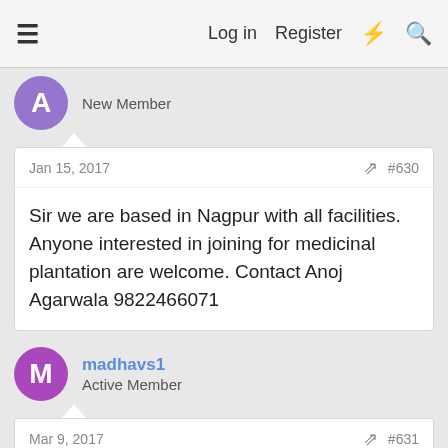≡  Log in  Register  ⚡  🔍
New Member
Jan 15, 2017   #630
Sir we are based in Nagpur with all facilities. Anyone interested in joining for medicinal plantation are welcome. Contact Anoj Agarwala 9822466071
madhavs1
Active Member
Mar 9, 2017   #631
Contract Farming